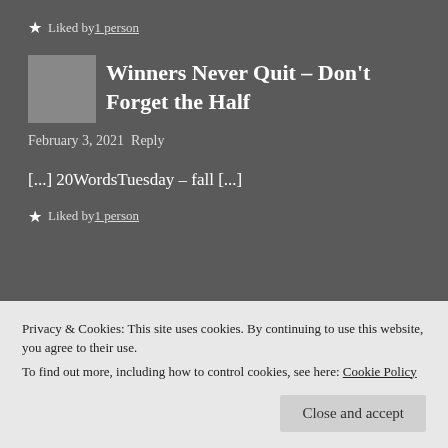★ Liked by 1 person
Winners Never Quit – Don't Forget the Half
February 3, 2021 Reply
[...] 20WordsTuesday – fall [...]
★ Liked by 1 person
Privacy & Cookies: This site uses cookies. By continuing to use this website, you agree to their use.
To find out more, including how to control cookies, see here: Cookie Policy
Close and accept